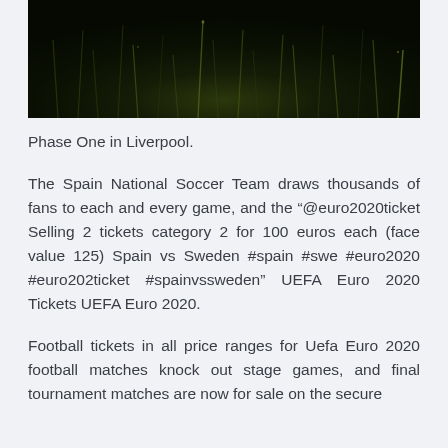[Figure (photo): Dark nighttime photograph of tall grass blades with slight light reflections, very dark green and black tones]
Phase One in Liverpool.
The Spain National Soccer Team draws thousands of fans to each and every game, and the “@euro2020ticket Selling 2 tickets category 2 for 100 euros each (face value 125) Spain vs Sweden #spain #swe #euro2020 #euro202ticket #spainvssweden” UEFA Euro 2020 Tickets UEFA Euro 2020.
Football tickets in all price ranges for Uefa Euro 2020 football matches knock out stage games, and final tournament matches are now for sale on the secure